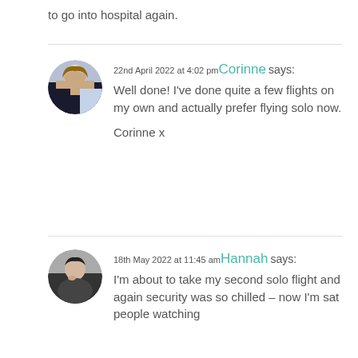to go into hospital again.
22nd April 2022 at 4:02 pm Corinne says: Well done! I've done quite a few flights on my own and actually prefer flying solo now.

Corinne x
18th May 2022 at 11:45 am Hannah says: I'm about to take my second solo flight and again security was so chilled – now I'm sat people watching